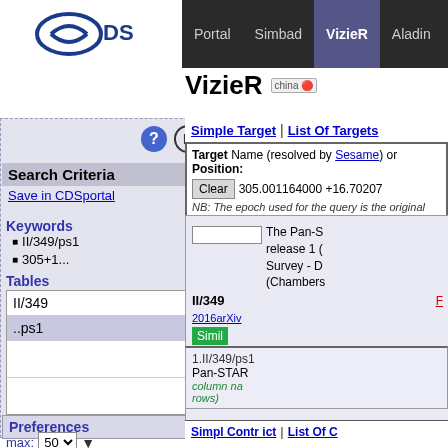CDS Portal | Simbad | VizieR | Aladin | X-Match | Other
VizieR
Search Criteria
Save in CDSportal
Keywords
II/349/ps1
305+1...
Tables
II/349
..ps1
Preferences
max: 50
HTML Table
All columns
Compute
Distance p
Simple Target | List Of Targets
Target Name (resolved by Sesame) or Position:
Clear  305.001164000 +16.70207
NB: The epoch used for the query is the original
The Pan-S release 1 ( Survey - D (Chambers 2016arXiv Simil Post anno
II/349
1.II/349/ps1  Pan-STAR column na rows)